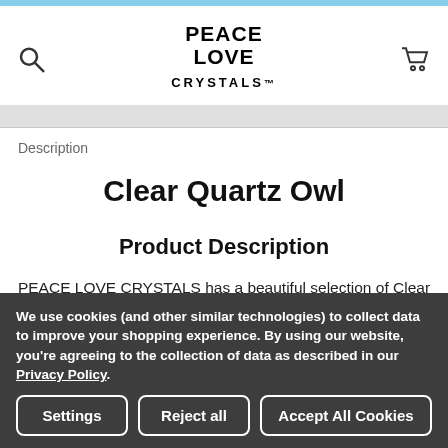PEACE LOVE CRYSTALS
Description
Clear Quartz Owl
Product Description
PEACE LOVE CRYSTALS has a beautiful selection of Clear Quartz Owls. This unique Clear Quartz Owl is approximately W41mm x H64mm x D33mm in size and weighs 137grams.
We use cookies (and other similar technologies) to collect data to improve your shopping experience. By using our website, you're agreeing to the collection of data as described in our Privacy Policy.